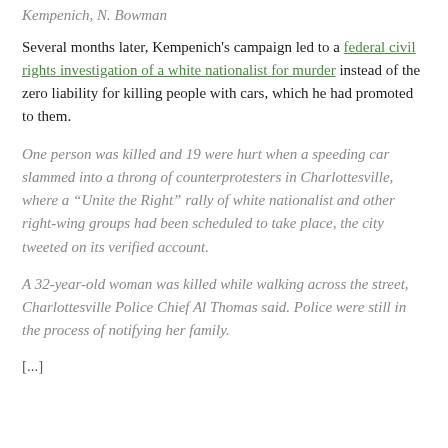Kempenich, N. Bowman
Several months later, Kempenich's campaign led to a federal civil rights investigation of a white nationalist for murder instead of the zero liability for killing people with cars, which he had promoted to them.
One person was killed and 19 were hurt when a speeding car slammed into a throng of counterprotesters in Charlottesville, where a “Unite the Right” rally of white nationalist and other right-wing groups had been scheduled to take place, the city tweeted on its verified account.
A 32-year-old woman was killed while walking across the street, Charlottesville Police Chief Al Thomas said. Police were still in the process of notifying her family.
[...]